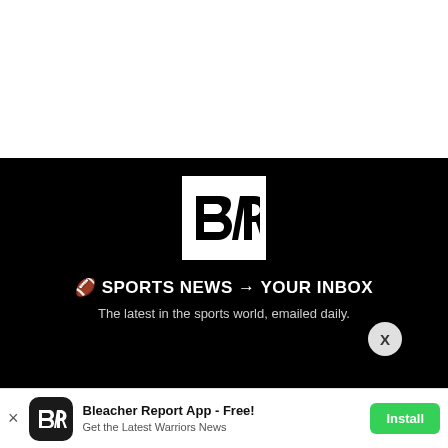[Figure (logo): Bleacher Report BR logo — white square with black B/R lettermark on black background]
🏈 SPORTS NEWS → YOUR INBOX
The latest in the sports world, emailed daily.
[Figure (infographic): Hard Rock Blackjack & Casino advertisement banner with Play Now button]
[Figure (infographic): Bleacher Report App install banner — 'Bleacher Report App - Free! Get the Latest Warriors News' with Install button]